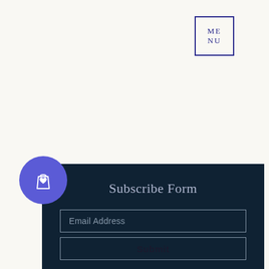[Figure (logo): MENU text in a square box with blue border, styled as a navigation element]
[Figure (other): Dark navy blue subscribe form panel with email address input field and submit button]
Subscribe Form
Email Address
Submit
[Figure (illustration): Purple circle with white shopping bag icon with a heart, positioned as a floating action button]